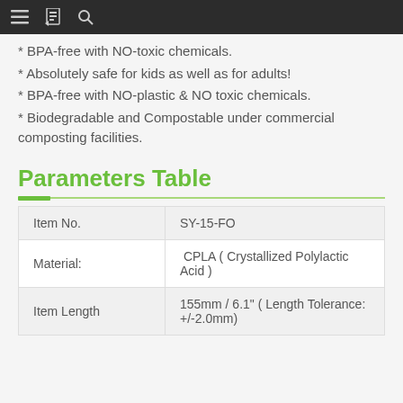Navigation bar
* BPA-free with NO-toxic chemicals.
* Absolutely safe for kids as well as for adults!
* BPA-free with NO-plastic & NO toxic chemicals.
* Biodegradable and Compostable under commercial composting facilities.
Parameters Table
| Item No. | SY-15-FO |
| --- | --- |
| Material: | CPLA  ( Crystallized Polylactic Acid ) |
| Item Length | 155mm / 6.1"  ( Length Tolerance: +/-2.0mm) |